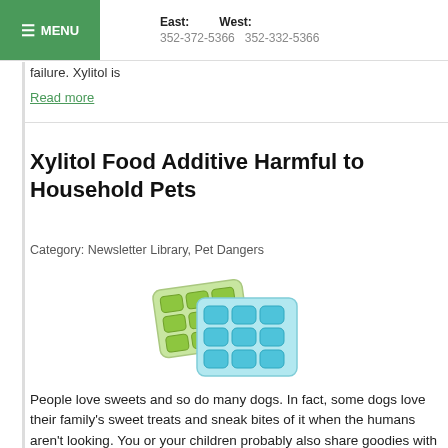MENU | East: 352-372-5366 | West: 352-332-5366
failure. Xylitol is
Read more
Xylitol Food Additive Harmful to Household Pets
Category: Newsletter Library, Pet Dangers
[Figure (photo): Blister packs of green and blue chewing gum pieces]
People love sweets and so do many dogs. In fact, some dogs love their family's sweet treats and sneak bites of it when the humans aren't looking. You or your children probably also share goodies with your family pet. Many sweets are made with the substance called xylitol. Xylitol is used to manufacture